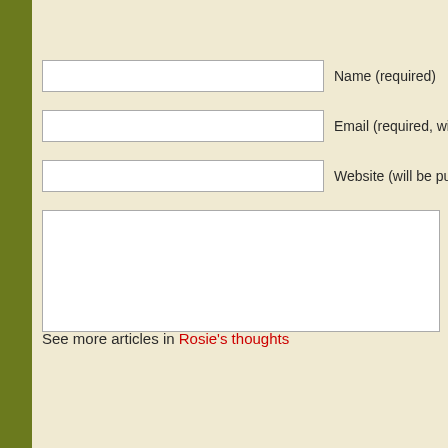Name (required)
Email (required, will not be published)
Website (will be published, not required)
See more articles in Rosie's thoughts